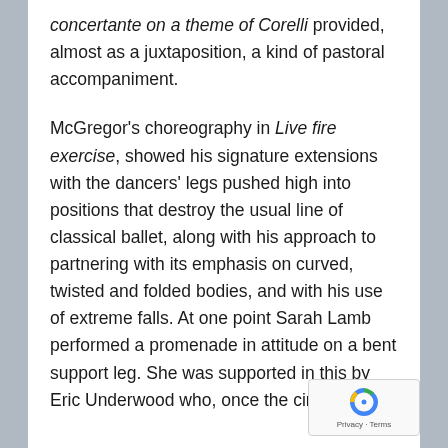concertante on a theme of Corelli provided, almost as a juxtaposition, a kind of pastoral accompaniment.
McGregor's choreography in Live fire exercise, showed his signature extensions with the dancers' legs pushed high into positions that destroy the usual line of classical ballet, along with his approach to partnering with its emphasis on curved, twisted and folded bodies, and with his use of extreme falls. At one point Sarah Lamb performed a promenade in attitude on a bent support leg. She was supported in this by Eric Underwood who, once the circle of the